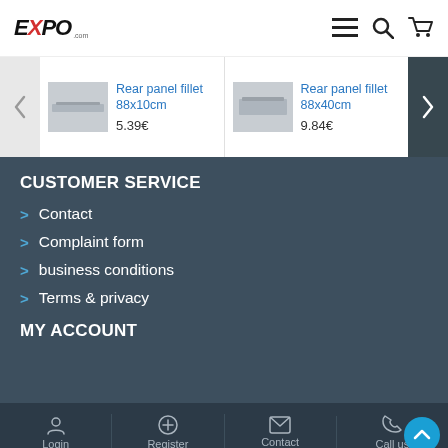EXPO.com
[Figure (screenshot): Product carousel showing two rear panel fillet products with prices]
CUSTOMER SERVICE
Contact
Complaint form
business conditions
Terms & privacy
MY ACCOUNT
Login | Register | Contact | Call us